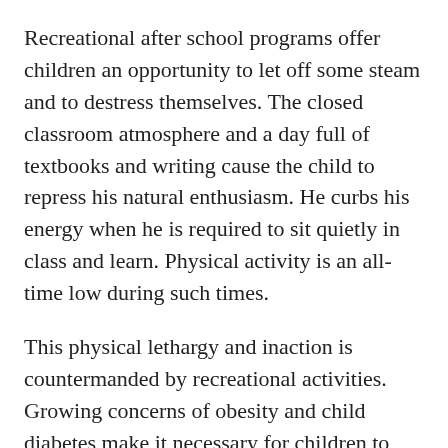Recreational after school programs offer children an opportunity to let off some steam and to destress themselves. The closed classroom atmosphere and a day full of textbooks and writing cause the child to repress his natural enthusiasm. He curbs his energy when he is required to sit quietly in class and learn. Physical activity is an all-time low during such times.
This physical lethargy and inaction is countermanded by recreational activities. Growing concerns of obesity and child diabetes make it necessary for children to indulge in some strenuous exercises that will allow them to work up some sweat.
Unlike educational programs, recreational programs do not tax the mental processes. But, they do aid the learning process by making the child more active. A child who is physically active is mentally fit, and is able to focus his thoughts on the work at hand. Additionally, recreational programs teach discipline, mechanics of teamwork and fair play. These are important lessons in the growing process.